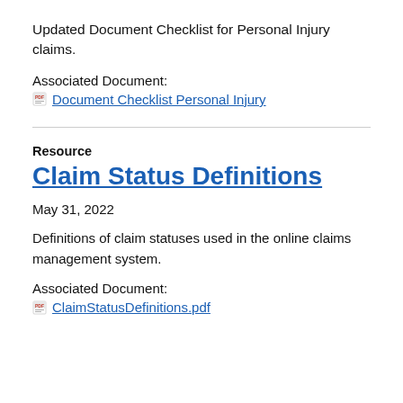Updated Document Checklist for Personal Injury claims.
Associated Document:
Document Checklist Personal Injury
Resource
Claim Status Definitions
May 31, 2022
Definitions of claim statuses used in the online claims management system.
Associated Document:
ClaimStatusDefinitions.pdf